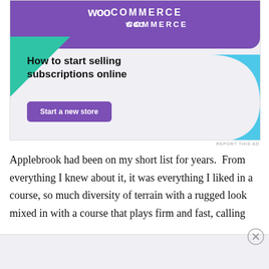[Figure (screenshot): WooCommerce advertisement banner with purple header, green triangle shape, blue curved shape, headline 'How to start selling subscriptions online', and a purple 'Start a new store' button]
REPORT THIS AD
Applebrook had been on my short list for years.  From everything I knew about it, it was everything I liked in a course, so much diversity of terrain with a rugged look mixed in with a course that plays firm and fast, calling
Advertisements